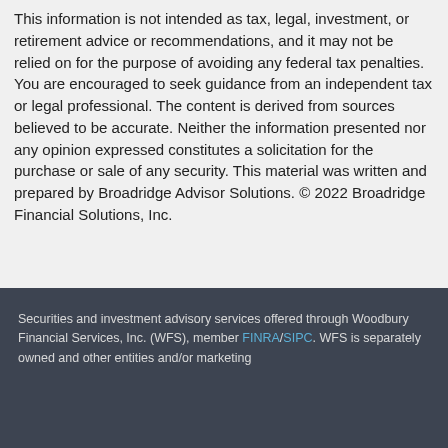This information is not intended as tax, legal, investment, or retirement advice or recommendations, and it may not be relied on for the purpose of avoiding any federal tax penalties. You are encouraged to seek guidance from an independent tax or legal professional. The content is derived from sources believed to be accurate. Neither the information presented nor any opinion expressed constitutes a solicitation for the purchase or sale of any security. This material was written and prepared by Broadridge Advisor Solutions. © 2022 Broadridge Financial Solutions, Inc.
Securities and investment advisory services offered through Woodbury Financial Services, Inc. (WFS), member FINRA/SIPC. WFS is separately owned and other entities and/or marketing